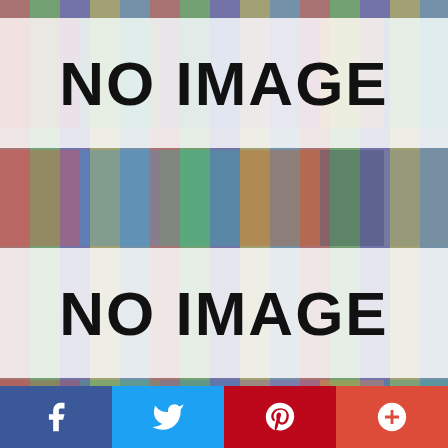[Figure (other): NO IMAGE placeholder banner (top) over a colorful mosaic thumbnail grid background]
[Figure (other): NO IMAGE placeholder banner (bottom) over a colorful mosaic thumbnail grid background]
[Figure (other): Social media share bar with Facebook, Twitter, Pinterest, and Google+ buttons]